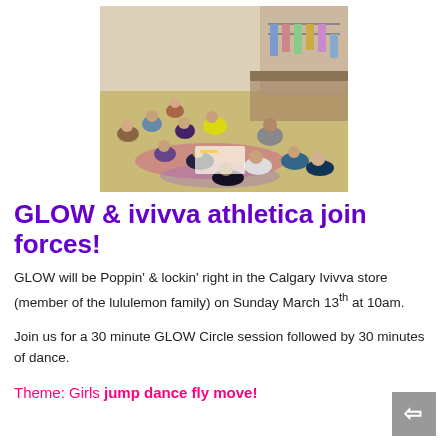[Figure (photo): Group of girls and a leader sitting on the floor in a circle at an ivivva athletica store, working on an activity together. Clothing racks are visible in the background.]
GLOW & ivivva athletica join forces!
GLOW will be Poppin' & lockin' right in the Calgary Ivivva store (member of the lululemon family) on Sunday March 13th at 10am.
Join us for a 30 minute GLOW Circle session followed by 30 minutes of dance.
Theme: Girls jump dance fly move!